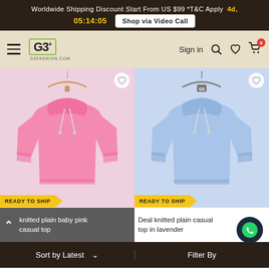Worldwide Shipping Discount Start From US $99 *T&C Apply  4d, 05:14:05  Shop via Video Call
[Figure (screenshot): G3+ Fashion website navigation bar with hamburger menu, G3+ logo, Sign in link, search, wishlist, and cart icons]
[Figure (photo): Pink baby pink knitted plain hoodie crop top on hanger with READY TO SHIP badge]
[Figure (photo): Lavender/light blue knitted plain casual hoodie crop top on hanger with READY TO SHIP badge]
knitted plain baby pink casual top
Deal knitted plain casual top in lavender
Sort by Latest  Filter By